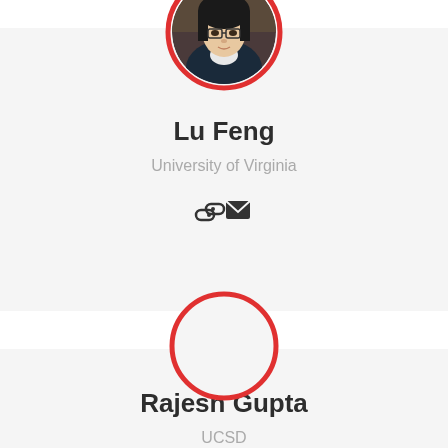[Figure (photo): Circular profile photo of Lu Feng with red border, showing a woman with glasses]
Lu Feng
University of Virginia
[Figure (illustration): Link icon and email envelope icon]
[Figure (illustration): Empty circular placeholder with red border for Rajesh Gupta profile photo]
Rajesh Gupta
UCSD